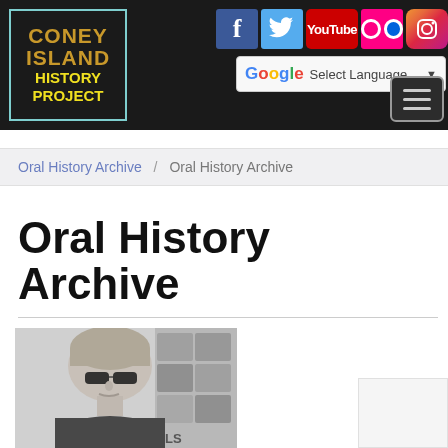[Figure (logo): Coney Island History Project logo — dark background with teal border, text in gold/yellow lettering]
[Figure (infographic): Social media icons row: Facebook (blue), Twitter (light blue), YouTube (red), Flickr (pink/red dots), Instagram (rainbow circle)]
[Figure (screenshot): Google Translate language selector widget with G logo and 'Select Language' dropdown]
[Figure (screenshot): Hamburger menu button (three horizontal lines) in dark rounded square]
Oral History Archive / Oral History Archive
Oral History Archive
[Figure (photo): Black and white photo of a woman with short hair and dark sunglasses, in front of what appears to be historical photographs on a wall, with text 'LS' partially visible]